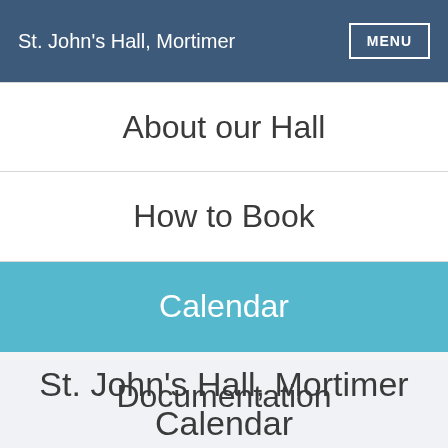St. John's Hall, Mortimer
About our Hall
How to Book
Calendar
Documentation
St. John's Hall, Mortimer Calendar